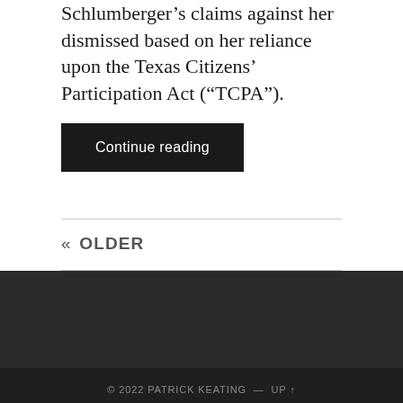Schlumberger’s claims against her dismissed based on her reliance upon the Texas Citizens’ Participation Act (“TCPA”).
Continue reading
« OLDER
© 2022 PATRICK KEATING — UP ↑